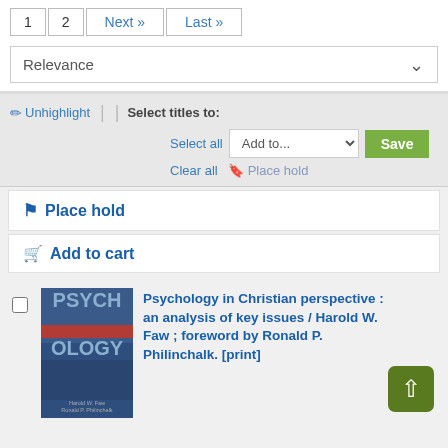1  2  Next »  Last »
Relevance
✏ Unhighlight | Select titles to:
Select all | Add to... Save
Clear all | 🔖 Place hold
🔖 Place hold
🛒 Add to cart
[Figure (illustration): Book cover for Psychology in Christian Perspective showing PSYCH in large letters on top and OLOGY on bottom with a red stripe, dark blue background]
Psychology in Christian perspective : an analysis of key issues / Harold W. Faw ; foreword by Ronald P. Philinchalk. [print]